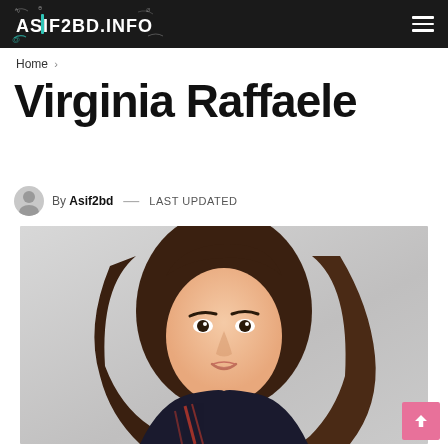ASIF2BD.INFO
Home >
Virginia Raffaele
By Asif2bd — LAST UPDATED
[Figure (photo): Photo of Virginia Raffaele, a woman with long dark brown hair, smiling, wearing a striped top, against a light background]
[Figure (other): Pink scroll-to-top button with upward arrow in bottom-right corner]